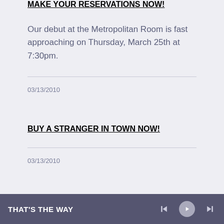MAKE YOUR RESERVATIONS NOW!
Our debut at the Metropolitan Room is fast approaching on Thursday, March 25th at 7:30pm.
03/13/2010
BUY A STRANGER IN TOWN NOW!
03/13/2010
THAT'S THE WAY